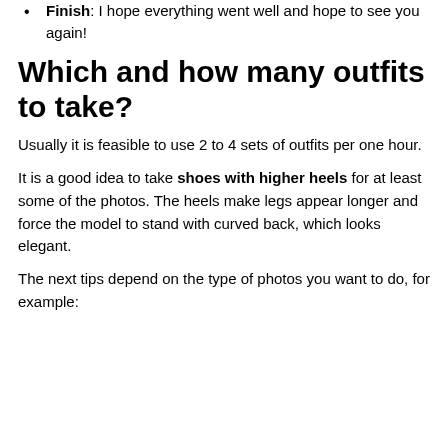Finish: I hope everything went well and hope to see you again!
Which and how many outfits to take?
Usually it is feasible to use 2 to 4 sets of outfits per one hour.
It is a good idea to take shoes with higher heels for at least some of the photos. The heels make legs appear longer and force the model to stand with curved back, which looks elegant.
The next tips depend on the type of photos you want to do, for example: